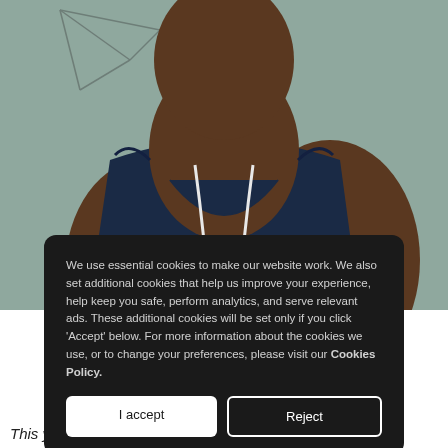[Figure (photo): Person wearing a navy sleeveless hoodie with white drawstrings, photographed from chest up against a light grey-green background with a geometric wire sculpture visible in the upper left corner.]
We use essential cookies to make our website work. We also set additional cookies that help us improve your experience, help keep you safe, perform analytics, and serve relevant ads. These additional cookies will be set only if you click 'Accept' below. For more information about the cookies we use, or to change your preferences, please visit our Cookies Policy.
This year, she's set her sights on a new job,